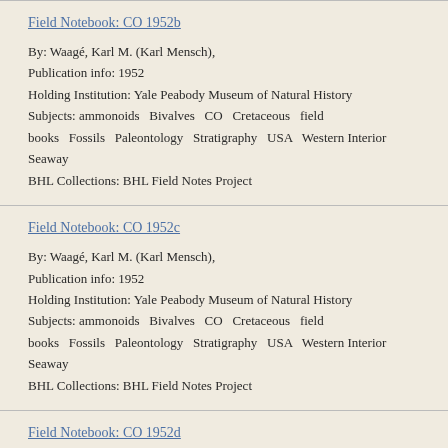Field Notebook: CO 1952b
By: Waagé, Karl M. (Karl Mensch),
Publication info: 1952
Holding Institution: Yale Peabody Museum of Natural History
Subjects: ammonoids  Bivalves  CO  Cretaceous  field books  Fossils  Paleontology  Stratigraphy  USA  Western Interior Seaway
BHL Collections: BHL Field Notes Project
Field Notebook: CO 1952c
By: Waagé, Karl M. (Karl Mensch),
Publication info: 1952
Holding Institution: Yale Peabody Museum of Natural History
Subjects: ammonoids  Bivalves  CO  Cretaceous  field books  Fossils  Paleontology  Stratigraphy  USA  Western Interior Seaway
BHL Collections: BHL Field Notes Project
Field Notebook: CO 1952d